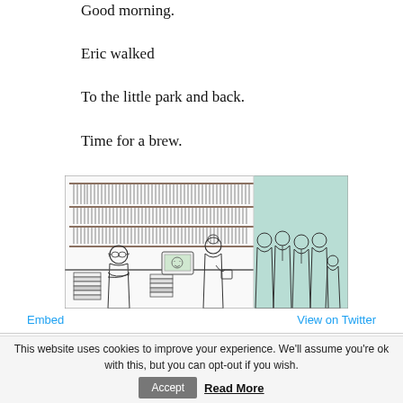Good morning.
Eric walked
To the little park and back.
Time for a brew.
[Figure (illustration): A cartoon/comic illustration showing a bookshop scene: a bookseller with glasses seated behind a counter with stacks of books, bookshelves full of books in the background, and a group of customers (adults and a child) standing on the right side against a mint/teal green background panel.]
Embed
View on Twitter
This website uses cookies to improve your experience. We'll assume you're ok with this, but you can opt-out if you wish. Accept Read More